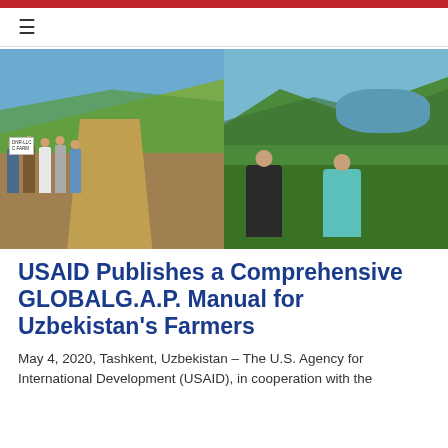[Figure (photo): Two photos side by side: left shows a group of people standing on a dirt farm road with a hillside vineyard; right shows two men standing in a green agricultural landscape with a lake in the background.]
USAID Publishes a Comprehensive GLOBALG.A.P. Manual for Uzbekistan's Farmers
May 4, 2020, Tashkent, Uzbekistan – The U.S. Agency for International Development (USAID), in cooperation with the